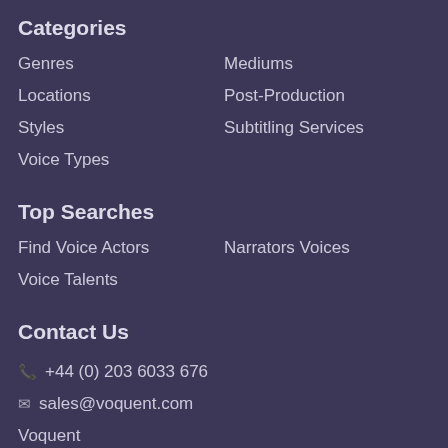Categories
Genres
Mediums
Locations
Post-Production
Styles
Subtitling Services
Voice Types
Top Searches
Find Voice Actors
Narrators Voices
Voice Talents
Contact Us
+44 (0) 203 6033 676
sales@voquent.com
Voquent
71-75 Shelton Street